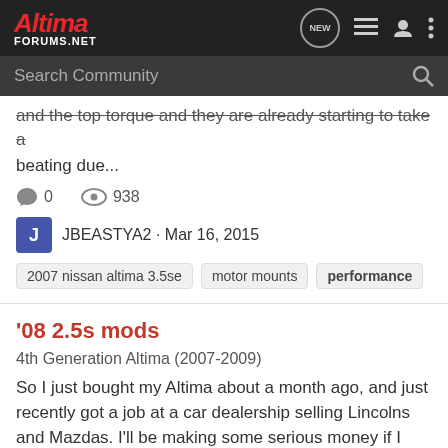Altima FORUMS.NET
Search Community
and the top torque and they are already starting to take a beating due...
0   938
JBEASTYA2 · Mar 16, 2015
2007 nissan altima 3.5se
motor mounts
performance
'08 2.5s mods
4th Generation Altima (2007-2009)
So I just bought my Altima about a month ago, and just recently got a job at a car dealership selling Lincolns and Mazdas. I'll be making some serious money if I manage to sell cars well enough. So what would you guys suggest I get to deck my Altima out? I'd like to get at least 200 bhp out of...